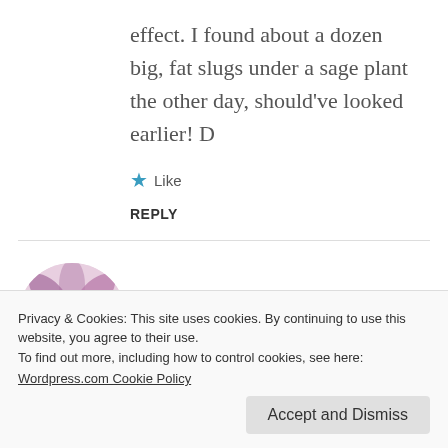effect. I found about a dozen big, fat slugs under a sage plant the other day, should've looked earlier! D
★ Like
REPLY
wellywoman
Privacy & Cookies: This site uses cookies. By continuing to use this website, you agree to their use.
To find out more, including how to control cookies, see here:
Wordpress.com Cookie Policy
Accept and Dismiss
spend an hour every evening hunting